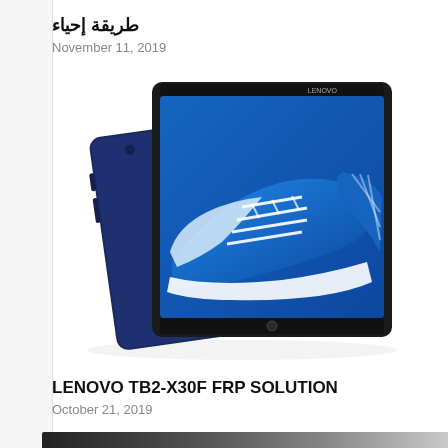طريقة إحياء
November 11, 2019
[Figure (photo): Lenovo tablet shown from front and back. The front screen displays blue sneakers/shoes image. The back is navy blue. Lenovo branding visible on both sides.]
LENOVO TB2-X30F FRP SOLUTION
October 21, 2019